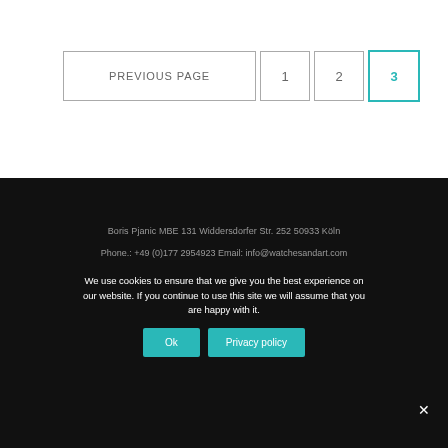PREVIOUS PAGE  1  2  3
Boris Pjanic MBE 131 Widdersdorfer Str. 252 50933 Köln
Phone.: +49 (0)177 2954923 Email: info@watchesandart.com
We use cookies to ensure that we give you the best experience on our website. If you continue to use this site we will assume that you are happy with it.
Ok  Privacy policy